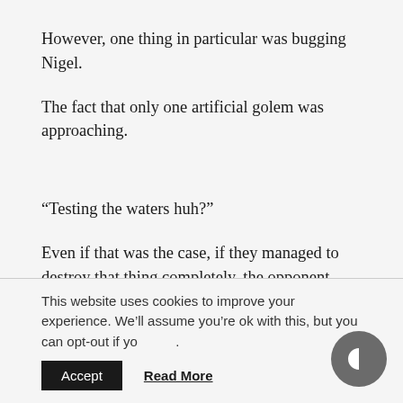However, one thing in particular was bugging Nigel.
The fact that only one artificial golem was approaching.
“Testing the waters huh?”
Even if that was the case, if they managed to destroy that thing completely, the opponent would be at a disadvantage..
This website uses cookies to improve your experience. We’ll assume you’re ok with this, but you can opt-out if yo.